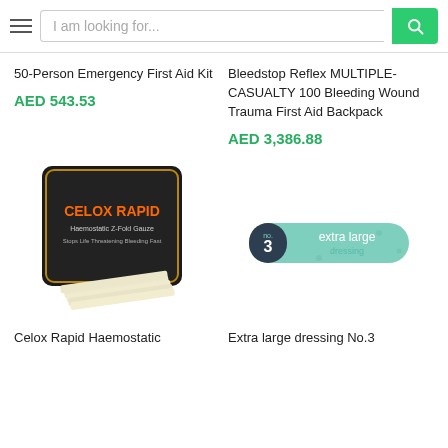[Figure (screenshot): Search bar with hamburger menu, text input placeholder 'I am looking for...' and green search button]
50-Person Emergency First Aid Kit
AED 543.53
Bleedstop Reflex MULTIPLE-CASUALTY 100 Bleeding Wound Trauma First Aid Backpack
AED 3,386.88
[Figure (photo): Celox Rapid Haemostatic gauze product - black packet and folded gauze pads]
[Figure (photo): Extra large dressing No.3 - teal/green cylindrical roll packaging]
Celox Rapid Haemostatic
Extra large dressing No.3